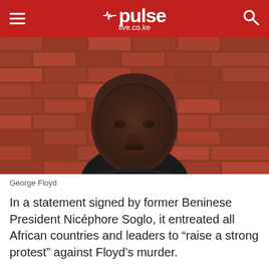pulse live.co.ke
[Figure (photo): Close-up portrait of George Floyd against a red brick wall, wearing a black turtleneck]
George Floyd
In a statement signed by former Beninese President Nicéphore Soglo, it entreated all African countries and leaders to “raise a strong protest” against Floyd’s murder.